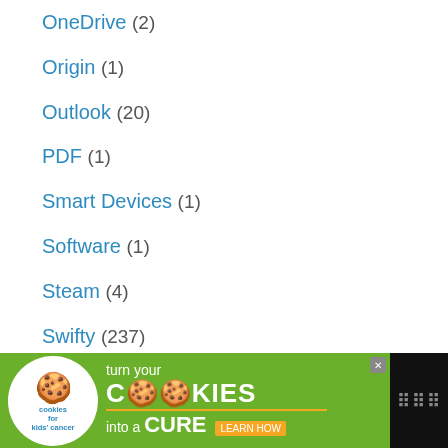OneDrive (2)
Origin (1)
Outlook (20)
PDF (1)
Smart Devices (1)
Software (1)
Steam (4)
Swifty (237)
Twitch (11)
Webex (1)
Windows 10 (9)
[Figure (other): Advertisement banner: cookies for kids cancer - turn your cookies into a cure, learn how]